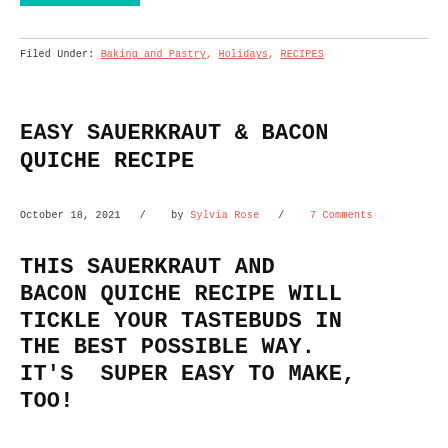Filed Under: Baking and Pastry, Holidays, RECIPES
EASY SAUERKRAUT & BACON QUICHE RECIPE
October 18, 2021  /   by Sylvia Rose  /   7 Comments
THIS SAUERKRAUT AND BACON QUICHE RECIPE WILL TICKLE YOUR TASTEBUDS IN THE BEST POSSIBLE WAY. IT'S  SUPER EASY TO MAKE, TOO!